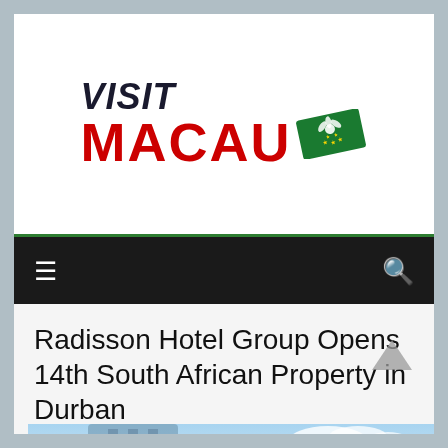[Figure (logo): Visit Macau logo with green Macau flag icon and text 'VISIT MACAU' where VISIT is in dark italic font and MACAU is in bold red font]
≡   🔍
Radisson Hotel Group Opens 14th South African Property in Durban
[Figure (photo): Partial view of a building against a blue sky]